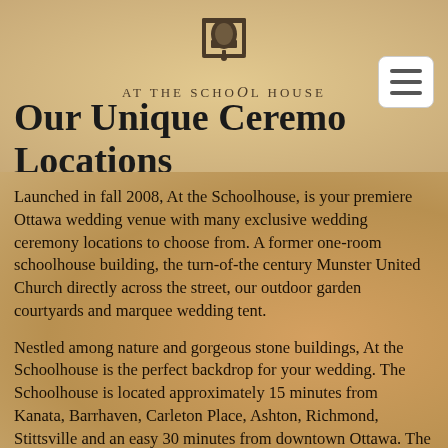[Figure (logo): At The School House logo with a bell icon above the text]
Our Unique Ceremony Locations
Launched in fall 2008, At the Schoolhouse, is your premiere Ottawa wedding venue with many exclusive wedding ceremony locations to choose from.  A former one-room schoolhouse building, the turn-of-the century Munster United Church directly across the street, our outdoor garden courtyards and marquee wedding tent.
Nestled among nature and gorgeous stone buildings, At the Schoolhouse is the perfect backdrop for your wedding. The Schoolhouse is located approximately 15 minutes from Kanata, Barrhaven, Carleton Place, Ashton, Richmond, Stittsville and an easy 30 minutes from downtown Ottawa. The breathtaking photo opportunities are naturally free of charge; as with our on-site parking.